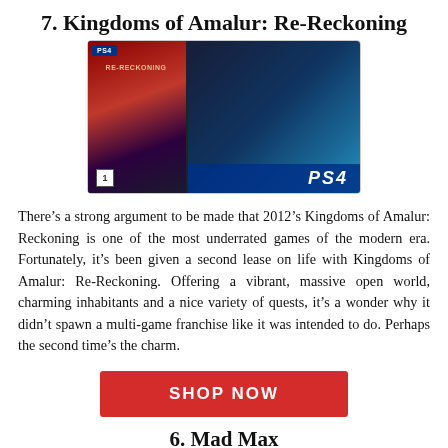7. Kingdoms of Amalur: Re-Reckoning
[Figure (photo): PS4 game box art and gameplay screenshot for Kingdoms of Amalur: Re-Reckoning showing cover art on left and action gameplay on right with PS4 logo]
There’s a strong argument to be made that 2012’s Kingdoms of Amalur: Reckoning is one of the most underrated games of the modern era. Fortunately, it’s been given a second lease on life with Kingdoms of Amalur: Re-Reckoning. Offering a vibrant, massive open world, charming inhabitants and a nice variety of quests, it’s a wonder why it didn’t spawn a multi-game franchise like it was intended to do. Perhaps the second time’s the charm.
SHOP NOW
6. Mad Max
[Figure (photo): PS4 game box art for Mad Max showing partial image at bottom of page]